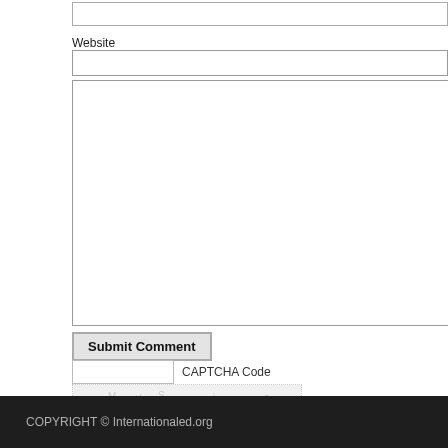Website
[Figure (screenshot): Web form with Website input field, large comment textarea, Submit Comment button, CAPTCHA code input field, and CAPTCHA image showing distorted letters Z H H V on a background with a wavy blue line and scattered faint letters]
COPYRIGHT © Internationaled.org